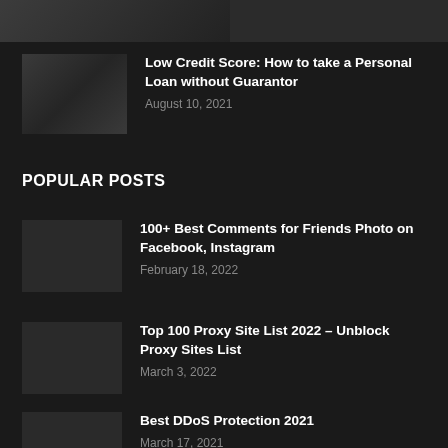[Figure (photo): Partial image strip at top of page, dark themed]
[Figure (photo): Small thumbnail image related to credit score / personal loan article]
Low Credit Score: How to take a Personal Loan without Guarantor
August 10, 2021
POPULAR POSTS
[Figure (photo): Thumbnail for comments article]
100+ Best Comments for Friends Photo on Facebook, Instagram
February 18, 2022
[Figure (photo): Thumbnail for proxy site list article]
Top 100 Proxy Site List 2022 – Unblock Proxy Sites List
March 3, 2022
[Figure (photo): Thumbnail for DDoS protection article]
Best DDoS Protection 2021
March 17, 2021